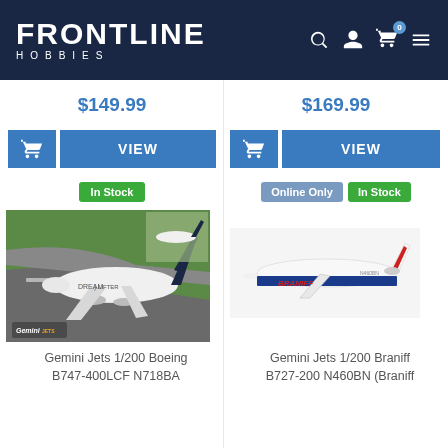FRONTLINE HOBBIES
$149.99
$169.99
VIEW (left product)
VIEW (right product)
In Stock
Online Only
In Stock
[Figure (photo): Gemini Jets 1/200 Boeing B747-400LCF N718BA model airplane on airport tarmac diorama, white fuselage with blue tail, Dreamlifter livery]
[Figure (photo): Gemini Jets 1/200 Braniff B727-200 N460BN model airplane, white fuselage with blue stripe and red Braniff text]
Gemini Jets 1/200 Boeing B747-400LCF N718BA
Gemini Jets 1/200 Braniff B727-200 N460BN (Braniff